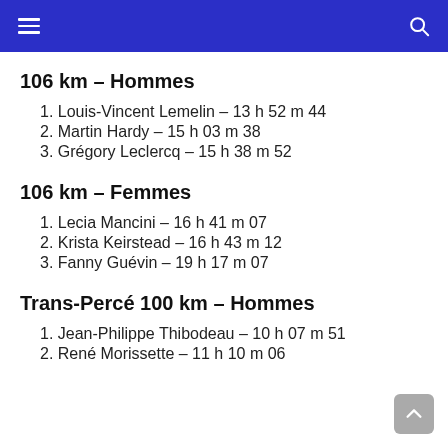Navigation header with hamburger menu and search icon
106 km – Hommes
1. Louis-Vincent Lemelin – 13 h 52 m 44
2. Martin Hardy – 15 h 03 m 38
3. Grégory Leclercq – 15 h 38 m 52
106 km – Femmes
1. Lecia Mancini – 16 h 41 m 07
2. Krista Keirstead – 16 h 43 m 12
3. Fanny Guévin – 19 h 17 m 07
Trans-Percé 100 km – Hommes
1. Jean-Philippe Thibodeau – 10 h 07 m 51
2. René Morissette – 11 h 10 m 06